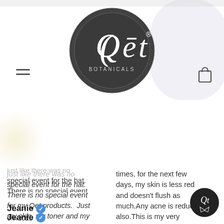[Figure (logo): Qet Botanicals circular logo — dark gray circle with 'Qet' in elegant serif/script font and 'BOTANICALS' text below]
just like there was no special event for the hat. There is no special event for my Qet products. Just my skin, my toner and my serum.
times, for the next few days, my skin is less red and doesn't flush as much.Any acne is reduced also.This is my very favorite because of the affects on my redness.2.Restoring Water - This product also helps calm my Rosacea and helps my skin feel hydrated any time of the day.3.Purely Cranb... love the feel and s... also see m...
Jeanie ✓
6/7/2021
★★★★★
I just wanted to take a minute to tell you how much I love your Qēt products. I